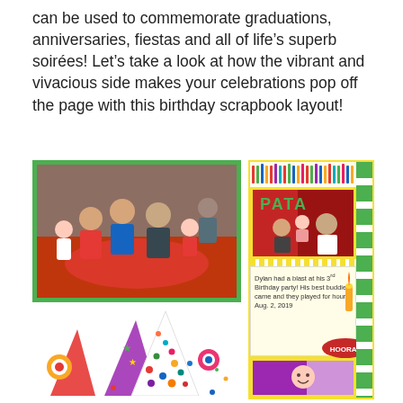can be used to commemorate graduations, anniversaries, fiestas and all of life's superb soirées! Let's take a look at how the vibrant and vivacious side makes your celebrations pop off the page with this birthday scrapbook layout!
[Figure (photo): Birthday scrapbook layout with colorful party theme. Left side shows a large group photo of a family at a birthday party with children. Right column shows a top photo of a man and woman with a baby, a handwritten journal card reading 'Dylan had a blast at his 3rd Birthday party! His best buddies came and they played for hours. Aug. 2, 2019', a HOORAY badge, and a bottom strip photo of a smiling baby. Decorative elements include party hats, confetti dots, rosette embellishments, and candles. Color scheme is yellow, green, red, and purple.]